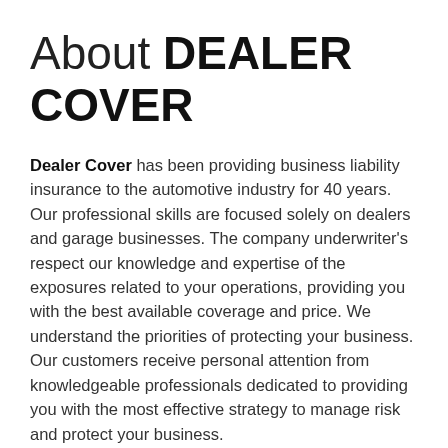About DEALER COVER
Dealer Cover has been providing business liability insurance to the automotive industry for 40 years. Our professional skills are focused solely on dealers and garage businesses. The company underwriter's respect our knowledge and expertise of the exposures related to your operations, providing you with the best available coverage and price. We understand the priorities of protecting your business. Our customers receive personal attention from knowledgeable professionals dedicated to providing you with the most effective strategy to manage risk and protect your business.
Dealer Cover offers a comprehensive array of coverage solutions ranging from garage liability...